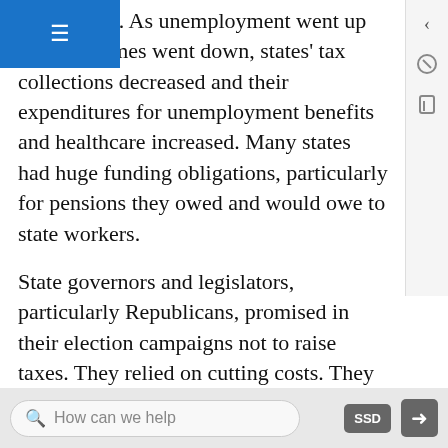nal funding. As unemployment went up and 's incomes went down, states' tax collections decreased and their expenditures for unemployment benefits and healthcare increased. Many states had huge funding obligations, particularly for pensions they owed and would owe to state workers.
State governors and legislators, particularly Republicans, promised in their election campaigns not to raise taxes. They relied on cutting costs. They reduced aid to local governments and cities. They fired some state employees, reduced pay and benefits for others, slashed services and programs (including welfare, recreation, and corrections), borrowed funds, and engaged in accounting maneuvers to mask debt.
For example, the University of California staff at...